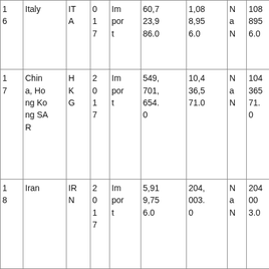| 1
6 | Italy | IT
A | 0
1
7 | Im
por
t | 60,7
23,9
86.0 | 1,08
8,95
6.0 | N
a
N | 108
895
6.0 | 55.
76 |
| 1
7 | China, Hong Kong SAR | H
K
G | 2
0
1
7 | Im
por
t | 549,
701,
654.
0 | 10,4
36,5
71.0 | N
a
N | 104
365
71.
0 | 52.
67 |
| 1
8 | Iran | IR
N | 2
0
1
7 | Im
por
t | 5,91
9,75
6.0 | 204,
003.
0 | N
a
N | 204
00
3.0 | 29.
02 |